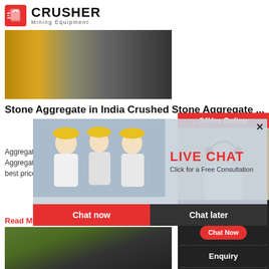CRUSHER Mining Equipment
[Figure (photo): Industrial yellow cylindrical mining equipment/ball mills in a row]
Stone Aggregate in India Crushed Stone Aggregate ...
Aggregate' gravel, crus geosyntheti manufactur Aggregate s finest quality aggregate stones at the best price
Read More
[Figure (photo): Construction excavator working on crushed stone aggregate site]
[Figure (screenshot): Live Chat popup overlay with workers in yellow hard hats, LIVE CHAT title in red, Click for a Free Consultation, Chat now and Chat later buttons]
[Figure (infographic): Right sidebar: 24Hrs Online bar, customer service representative with headset, Need questions & suggestion? Chat Now button, Enquiry link, limingjlmofen@sina.com email]